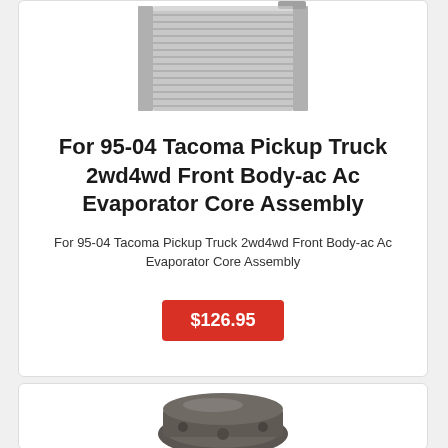[Figure (photo): AC evaporator core assembly - metal finned rectangular cooling unit]
For 95-04 Tacoma Pickup Truck 2wd4wd Front Body-ac Ac Evaporator Core Assembly
For 95-04 Tacoma Pickup Truck 2wd4wd Front Body-ac Ac Evaporator Core Assembly
$126.95
[Figure (photo): Auto part component - dark metal casting, partial view at bottom of page]